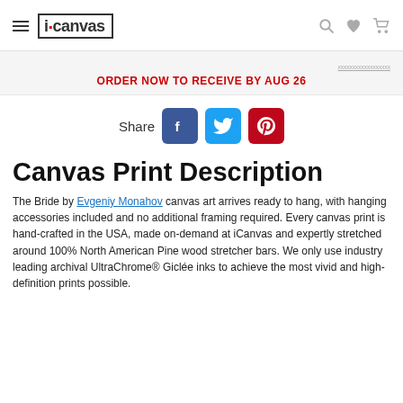iCanvas
ORDER NOW TO RECEIVE BY AUG 26
[Figure (other): Share icons for Facebook, Twitter, and Pinterest with Share label]
Canvas Print Description
The Bride by Evgeniy Monahov canvas art arrives ready to hang, with hanging accessories included and no additional framing required. Every canvas print is hand-crafted in the USA, made on-demand at iCanvas and expertly stretched around 100% North American Pine wood stretcher bars. We only use industry leading archival UltraChrome® Giclée inks to achieve the most vivid and high-definition prints possible.